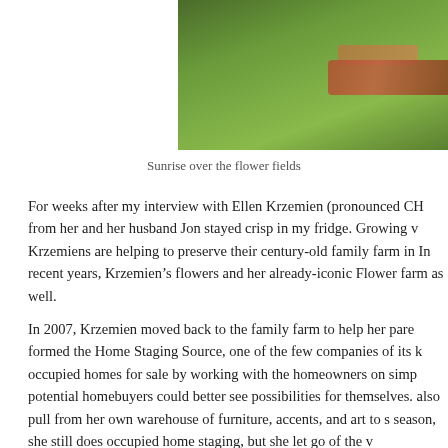[Figure (photo): Aerial or elevated view of green flower fields with a diagonal band of reddish-brown flowers at sunrise]
Sunrise over the flower fields
For weeks after my interview with Ellen Krzemien (pronounced CH from her and her husband Jon stayed crisp in my fridge. Growing v Krzemiens are helping to preserve their century-old family farm in In recent years, Krzemien's flowers and her already-iconic Flower farm as well.
In 2007, Krzemien moved back to the family farm to help her pare formed the Home Staging Source, one of the few companies of its k occupied homes for sale by working with the homeowners on simp potential homebuyers could better see possibilities for themselves. also pull from her own warehouse of furniture, accents, and art to s season, she still does occupied home staging, but she let go of the v